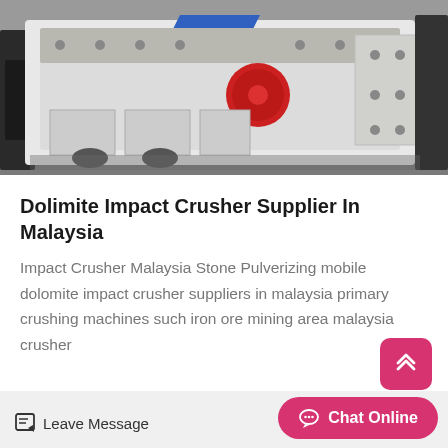[Figure (photo): Large white industrial impact crusher machine photographed in a factory/warehouse setting. The machine has a prominent red circular element and blue stripe visible.]
Dolimite Impact Crusher Supplier In Malaysia
Impact Crusher Malaysia Stone Pulverizing mobile dolomite impact crusher suppliers in malaysia primary crushing machines such iron ore mining area malaysia crusher
[Figure (photo): Partial view of what appears to be another industrial machine or material, partially visible at bottom of page.]